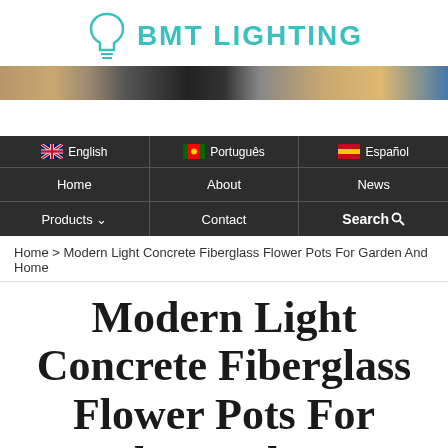BMT LIGHTING
[Figure (illustration): BMT Lighting logo with lightbulb icon in teal/cyan color]
[Figure (photo): Horizontal banner strip showing decorative lighting products]
English | Português | Español | Home | About | News | Products | Contact | Search
Home > Modern Light Concrete Fiberglass Flower Pots For Garden And Home
Modern Light Concrete Fiberglass Flower Pots For Garden And Home